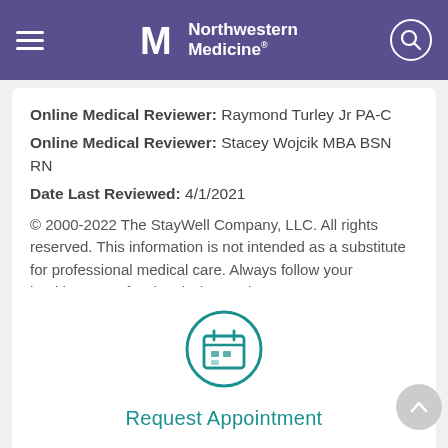Northwestern Medicine
Online Medical Reviewer: Raymond Turley Jr PA-C
Online Medical Reviewer: Stacey Wojcik MBA BSN RN
Date Last Reviewed: 4/1/2021
© 2000-2022 The StayWell Company, LLC. All rights reserved. This information is not intended as a substitute for professional medical care. Always follow your healthcare professional's instructions.
[Figure (illustration): Calendar icon inside a teal circle, with text 'Request Appointment' below it]